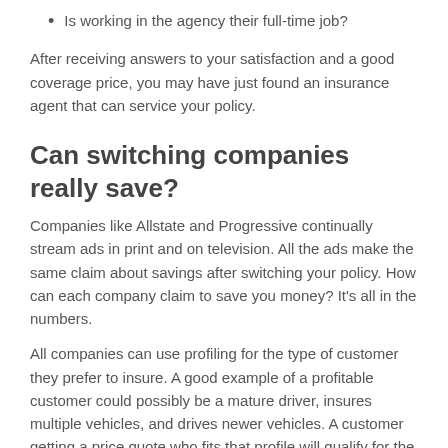Is working in the agency their full-time job?
After receiving answers to your satisfaction and a good coverage price, you may have just found an insurance agent that can service your policy.
Can switching companies really save?
Companies like Allstate and Progressive continually stream ads in print and on television. All the ads make the same claim about savings after switching your policy. How can each company claim to save you money? It’s all in the numbers.
All companies can use profiling for the type of customer they prefer to insure. A good example of a profitable customer could possibly be a mature driver, insures multiple vehicles, and drives newer vehicles. A customer getting a price quote who fits that profile will qualify for the lowest rates and as a result will probably cut their rates substantially.